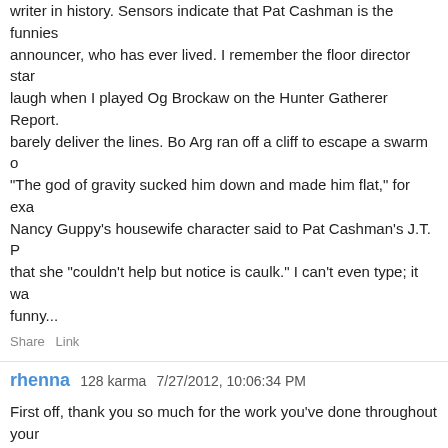writer in history. Sensors indicate that Pat Cashman is the funniest announcer, who has ever lived. I remember the floor director starting to laugh when I played Og Brockaw on the Hunter Gatherer Report. I could barely deliver the lines. Bo Arg ran off a cliff to escape a swarm of... "The god of gravity sucked him down and made him flat," for example. Nancy Guppy's housewife character said to Pat Cashman's J.T. P... that she "couldn't help but notice is caulk." I can't even type; it was so funny...
Share Link
rhenna 128 karma 7/27/2012, 10:06:34 PM
First off, thank you so much for the work you've done throughout your career. I used to watch your show every day, and it was a huge incentive to pursue my interest in the sciences.
What do you think we can do to encourage our youth (and particularly women and minorities) to pursue degrees in STEM fields, especially given that, as a STEM graduate myself, I know that the process of getting these degrees in US institutions can be arduous if not impossible?
Share Link
SevenStarSonata 160 karma 7/27/2012, 10:14:05 PM
As a young woman pursuing a degree in STEM (Two, actually - p